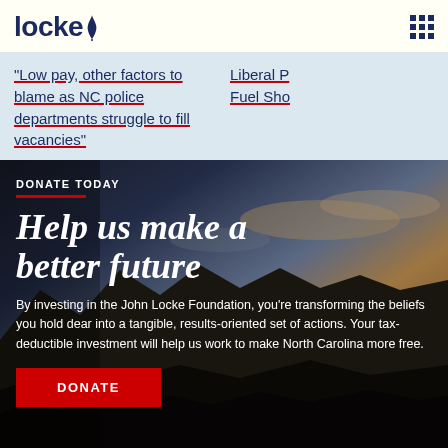locke
"Low pay, other factors to blame as NC police departments struggle to fill vacancies"
Liberal P Fuel Sho
DONATE TODAY
Help us make a better future
By investing in the John Locke Foundation, you're transforming the beliefs you hold dear into a tangible, results-oriented set of actions. Your tax-deductible investment will help us work to make North Carolina more free.
DONATE